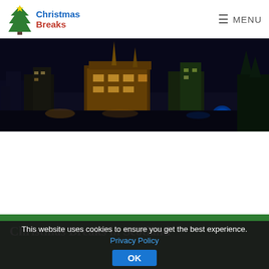Christmas Breaks — MENU
[Figure (photo): Nighttime aerial view of a Scottish city (Edinburgh) with illuminated historic buildings, church spires, and city lights against a dark sky]
Christmas Breaks in Scotland
This website uses cookies to ensure you get the best experience. Privacy Policy  OK